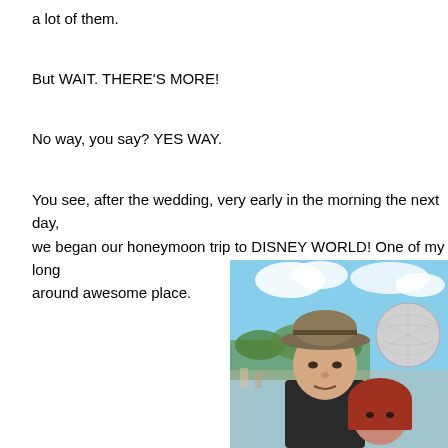a lot of them.
But WAIT. THERE'S MORE!
No way, you say? YES WAY.
You see, after the wedding, very early in the morning the next day, we began our honeymoon trip to DISNEY WORLD! One of my long around awesome place.
[Figure (photo): A couple at Disney World (Epcot). A man wearing a khaki/olive fedora-style hat and a woman with red hair are taking a selfie. The Epcot geodesic sphere (Spaceship Earth) is visible in the background along with blue sky and trees.]